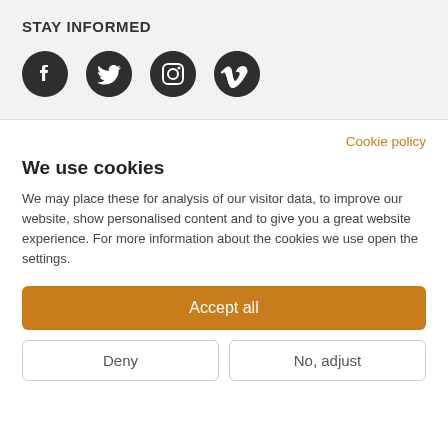STAY INFORMED
[Figure (illustration): Social media icons: Facebook, Twitter, Instagram, Vimeo]
Cookie policy
We use cookies
We may place these for analysis of our visitor data, to improve our website, show personalised content and to give you a great website experience. For more information about the cookies we use open the settings.
Accept all
Deny
No, adjust